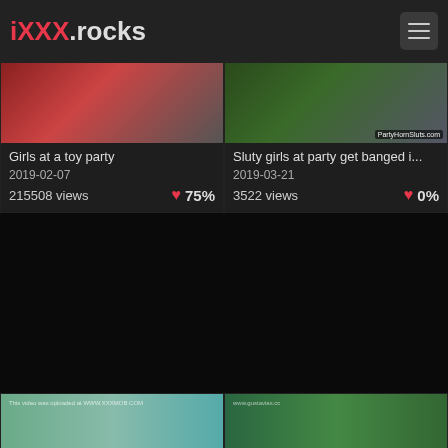iXXX.rocks
[Figure (screenshot): Thumbnail image for 'Girls at a toy party' video]
Girls at a toy party
2019-02-07
215508 views  ❤ 75%
[Figure (screenshot): Thumbnail image for 'Sluty girls at party get banged i...' video with PartyHornSluts.com watermark]
Sluty girls at party get banged i...
2019-03-21
3522 views  ❤ 0%
[Figure (screenshot): Dark middle section — black area]
[Figure (screenshot): Bottom left thumbnail with watermark 'This video was uploaded at WWW.XXXMOB.COM']
[Figure (screenshot): Bottom right thumbnail with www.gustavias.cc watermark]